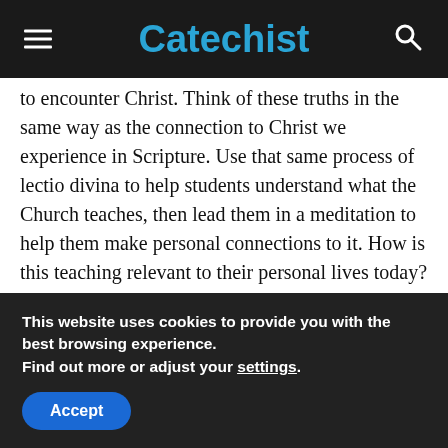Catechist
to encounter Christ. Think of these truths in the same way as the connection to Christ we experience in Scripture. Use that same process of lectio divina to help students understand what the Church teaches, then lead them in a meditation to help them make personal connections to it. How is this teaching relevant to their personal lives today? Then, as a part of the learning experience, give them the chance to respond in prayer in creative ways. What prayer experiences relate to what they are learning? Have them actually talk to God about what they are learning through
This website uses cookies to provide you with the best browsing experience.
Find out more or adjust your settings.